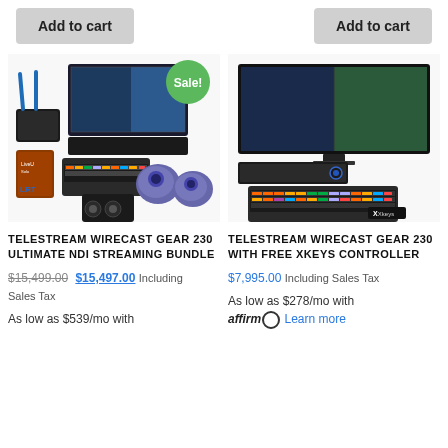[Figure (other): Add to cart button (left)]
[Figure (other): Add to cart button (right)]
[Figure (photo): Telestream Wirecast Gear 230 Ultimate NDI Streaming Bundle product image with Sale badge]
[Figure (photo): Telestream Wirecast Gear 230 with Free Xkeys Controller product image]
TELESTREAM WIRECAST GEAR 230 ULTIMATE NDI STREAMING BUNDLE
TELESTREAM WIRECAST GEAR 230 WITH FREE XKEYS CONTROLLER
$15,499.00 $15,497.00 Including Sales Tax
$7,995.00 Including Sales Tax
As low as $539/mo with
As low as $278/mo with affirm Learn more